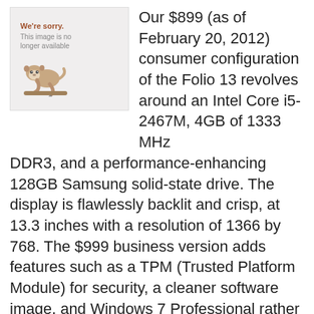[Figure (illustration): Placeholder image with sloth graphic and text 'We're sorry. This image is no longer available']
Our $899 (as of February 20, 2012) consumer configuration of the Folio 13 revolves around an Intel Core i5-2467M, 4GB of 1333 MHz DDR3, and a performance-enhancing 128GB Samsung solid-state drive. The display is flawlessly backlit and crisp, at 13.3 inches with a resolution of 1366 by 768. The $999 business version adds features such as a TPM (Trusted Platform Module) for security, a cleaner software image, and Windows 7 Professional rather than Windows 7 Home Premium.
The Folio 13's WorldBench 6 score of 118 is good for a Core i5-based machine, and in informal use the unit feels quite snappy. The integrated Intel HD 3000 graphics contribute to weak gaming frame